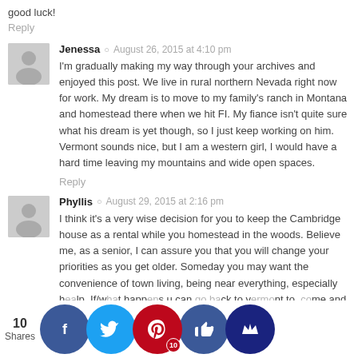good luck!
Reply
Jenessa · August 26, 2015 at 4:10 pm
I'm gradually making my way through your archives and enjoyed this post. We live in rural northern Nevada right now for work. My dream is to move to my family's ranch in Montana and homestead there when we hit FI. My fiance isn't quite sure what his dream is yet though, so I just keep working on him. Vermont sounds nice, but I am a western girl, I would have a hard time leaving my mountains and wide open spaces.
Reply
Phyllis · August 29, 2015 at 2:16 pm
I think it's a very wise decision for you to keep the Cambridge house as a rental while you homestead in the woods. Believe me, as a senior, I can assure you that you will change your priorities as you get older. Someday you may want the convenience of town living, being near everything, especially h...lp. If/w...t happ...u can ...ck to v... to...me and h...ve to pa...outrages...ices of re...